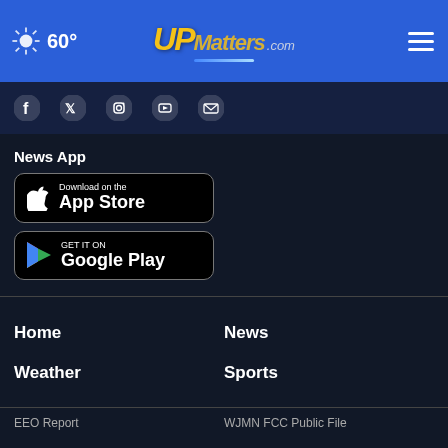60° UPMatters.com navigation header with hamburger menu
[Figure (screenshot): Social media icons row: Facebook, Twitter, Instagram, YouTube, and one more icon]
News App
[Figure (illustration): Download on the App Store button (Apple)]
[Figure (illustration): Get it on Google Play button]
Home
News
Weather
Sports
EEO Report    WJMN FCC Public File